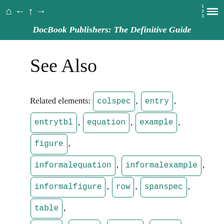DocBook Publishers: The Definitive Guide
See Also
Related elements: colspec , entry , entrytbl , equation , example , figure , informalequation , informalexample , informalfigure , row , spanspec , table , tbody , tfoot , tgroup , thead .